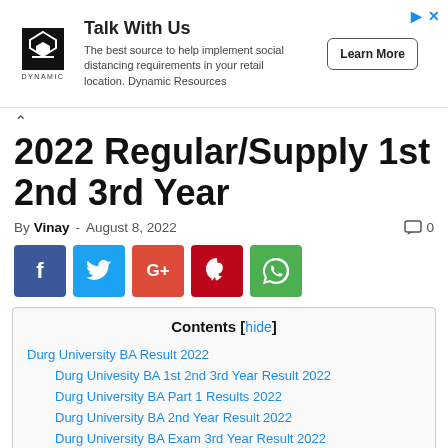[Figure (other): Advertisement banner: Dynamic Resources logo on left, 'Talk With Us' heading, description text about social distancing, and 'Learn More' button on right]
2022 Regular/Supply 1st 2nd 3rd Year
By Vinay - August 8, 2022  0
[Figure (infographic): Social sharing buttons: Facebook (blue), Twitter (light blue), Google+ (red-orange), Pinterest (dark red), WhatsApp (green)]
Contents [hide]
Durg University BA Result 2022
Durg Univesity BA 1st 2nd 3rd Year Result 2022
Durg University BA Part 1 Results 2022
Durg University BA 2nd Year Result 2022
Durg University BA Exam 3rd Year Result 2022